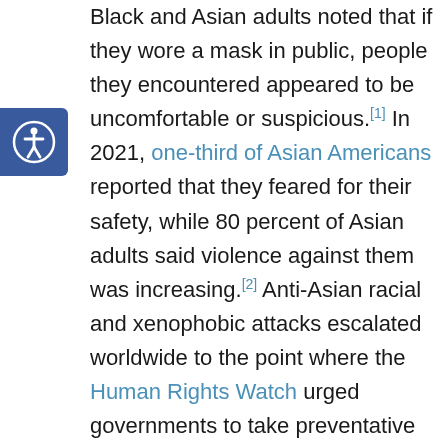[Figure (other): Accessibility icon: white person with circle outline on blue rounded-right rectangle background]
Black and Asian adults noted that if they wore a mask in public, people they encountered appeared to be uncomfortable or suspicious.[1] In 2021, one-third of Asian Americans reported that they feared for their safety, while 80 percent of Asian adults said violence against them was increasing.[2] Anti-Asian racial and xenophobic attacks escalated worldwide to the point where the Human Rights Watch urged governments to take preventative measures against the violence and discrimination.[3]
A new study published in the American Journal of Public Health examined COVID-19 related discrimination and concluded that the coronavirus pandemic exacerbated preexisting